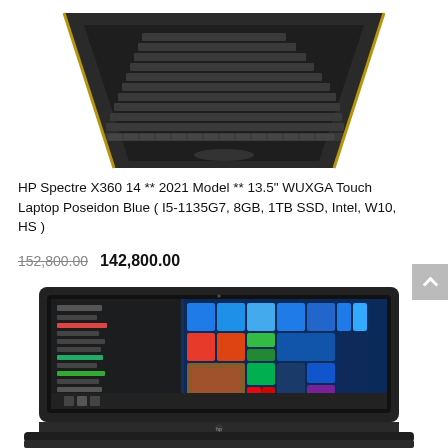[Figure (photo): HP Spectre X360 laptop shown from above/back, dark gray color with gold accents on hinges, keyboard visible from top-down angle]
HP Spectre X360 14 ** 2021 Model ** 13.5″ WUXGA Touch Laptop Poseidon Blue ( I5-1135G7, 8GB, 1TB SSD, Intel, W10, HS )
152,800.00   142,800.00
[Figure (photo): HP laptop shown from front, displaying Windows 10 Start menu on screen, dark silver/gray body, HP logo on lower bezel]